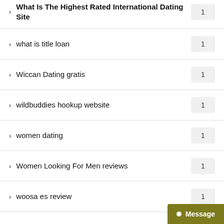What Is The Highest Rated International Dating Site
what is title loan
Wiccan Dating gratis
wildbuddies hookup website
women dating
Women Looking For Men reviews
woosa es review
write my paper
writing a research paper example